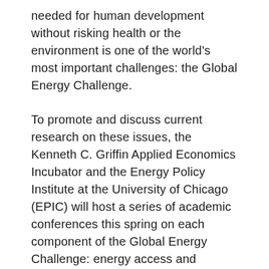needed for human development without risking health or the environment is one of the world's most important challenges: the Global Energy Challenge.
To promote and discuss current research on these issues, the Kenneth C. Griffin Applied Economics Incubator and the Energy Policy Institute at the University of Chicago (EPIC) will host a series of academic conferences this spring on each component of the Global Energy Challenge: energy access and markets, air pollution, and climate change.
We would like to invite you to join us for